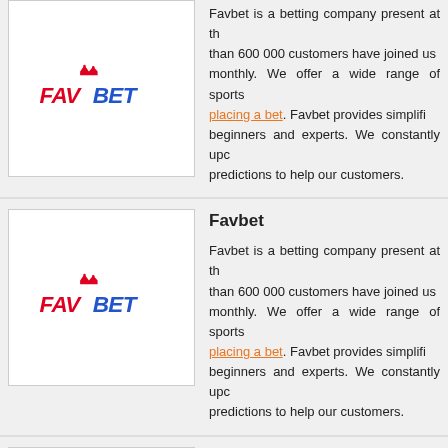[Figure (logo): Favbet logo - red and blue stylized text with crown]
Favbet is a betting company present at the... than 600 000 customers have joined us... monthly. We offer a wide range of sports... placing a bet. Favbet provides simplifi... beginners and experts. We constantly upd... predictions to help our customers.
Favbet
[Figure (logo): Favbet logo - red and blue stylized text with crown]
Favbet is a betting company present at the... than 600 000 customers have joined us... monthly. We offer a wide range of sports... placing a bet. Favbet provides simplifi... beginners and experts. We constantly upd... predictions to help our customers.
10bet
Place your bets online with great betting o... tennis, basketball and more! Join 10Bet o...